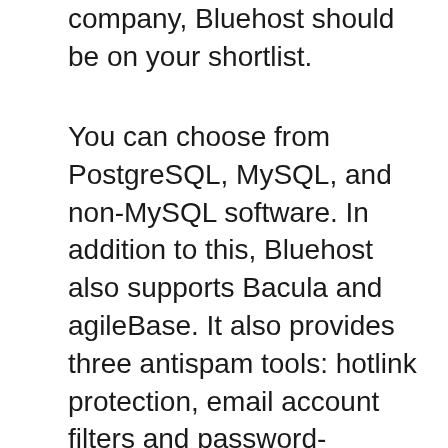company, Bluehost should be on your shortlist.
You can choose from PostgreSQL, MySQL, and non-MySQL software. In addition to this, Bluehost also supports Bacula and agileBase. It also provides three antispam tools: hotlink protection, email account filters and password-protected directoryies. They offer 24/7 network monitoring. This will help you protect your website. Bluehost also offers secure shell access and private keys. Bluehost offers 24/7 customer support.
Besides its 24/7 customer support, Bluehost also offers a knowledge base where you can find solutions to common problems. The knowledge base includes articles on